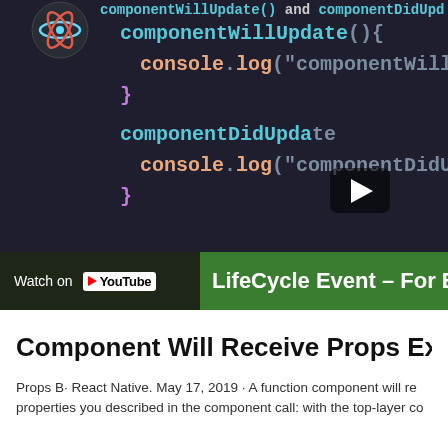[Figure (screenshot): YouTube video thumbnail showing a code editor with dark background displaying React lifecycle methods componentWillUpdate() and componentDidUpdate() in cyan/orange syntax highlighting, with a play button overlay. Below the video is a YouTube 'Watch on' bar on the left and a green bar showing 'LifeCycle Event – For Beg...' on the right.]
Component Will Receive Props Examp
Props B· React Native. May 17, 2019 · A function component will re properties you described in the component call: with the top-layer co